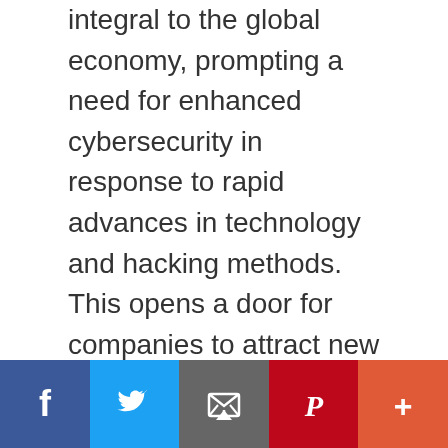integral to the global economy, prompting a need for enhanced cybersecurity in response to rapid advances in technology and hacking methods. This opens a door for companies to attract new VC investment by developing better cybersecurity tools. Cybersecurity is still at the forefront of investors' minds, however, so it's worthwhile to take a closer look at the industry to see where VC funds are likely to be spent. Cybercrime Outpaces Economic Decline: The Great Downturn Or Market Stabilization? Cybersecurity Ventures predicted the global economy would lose an estimated $6 trillion to … [Read more...]
[Figure (infographic): Social media sharing bar with icons for Facebook (blue), Twitter (light blue), Email (grey), Pinterest (red), and More (orange-red)]